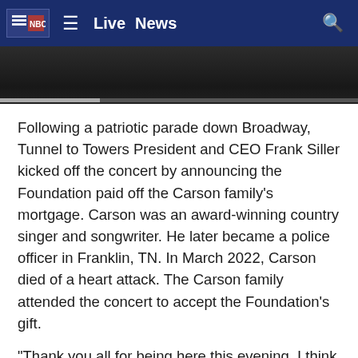Live  News
[Figure (screenshot): Partial video thumbnail showing a dark scene with a progress bar at the bottom]
Following a patriotic parade down Broadway, Tunnel to Towers President and CEO Frank Siller kicked off the concert by announcing the Foundation paid off the Carson family's mortgage. Carson was an award-winning country singer and songwriter. He later became a police officer in Franklin, TN. In March 2022, Carson died of a heart attack. The Carson family attended the concert to accept the Foundation's gift.
"Thank you all for being here this evening. I think we thought we were just being invited. Jeff just would've never believed all of this. There has been so much happening in these last few weeks and we're just so thankful, we're grateful," said Carson's wife, Kim.